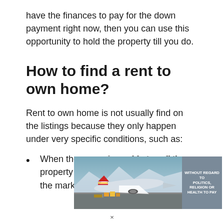have the finances to pay for the down payment right now, then you can use this opportunity to hold the property till you do.
How to find a rent to own home?
Rent to own home is not usually find on the listings because they only happen under very specific conditions, such as:
When the owner is unable to sell the property even though it has been on the market for a
[Figure (photo): Advertisement banner showing a cargo airplane being loaded on a tarmac, with text overlay reading 'WITHOUT REGARD TO POLITICS, RELIGION OR HEALTH TO PAY']